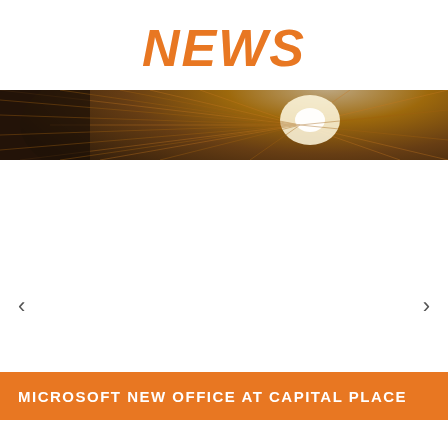NEWS
[Figure (photo): Partial view of a decorative circular ceiling or architectural feature with radiating brown/copper lines and a bright light, shown as a horizontal strip across the page.]
‹
›
MICROSOFT NEW OFFICE AT CAPITAL PLACE